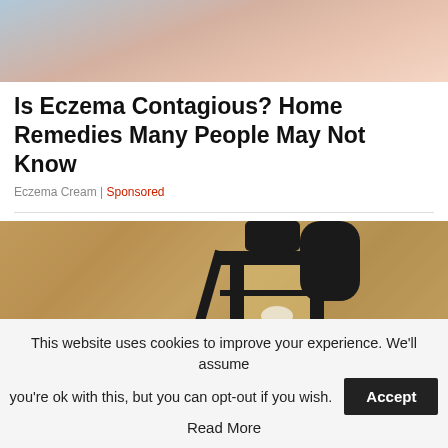[Figure (photo): Cropped photo showing a person's skin (fingers/hand) with a light blue background, top portion of an eczema-related article image]
Is Eczema Contagious? Home Remedies Many People May Not Know
Eczema Cream | Sponsored
[Figure (photo): Close-up photo of a black wrought-iron outdoor wall lantern mounted on a rough tan/beige textured stucco wall]
This website uses cookies to improve your experience. We'll assume you're ok with this, but you can opt-out if you wish. Accept Read More